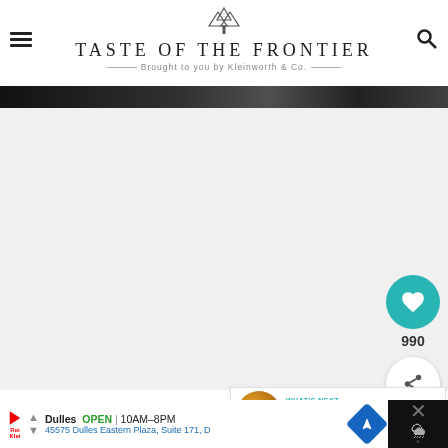TASTE OF THE FRONTIER — Brought to you by Kleinworth & Co.
[Figure (screenshot): Dark hero image strip at top of page content]
[Figure (infographic): White/light gray content area with social sidebar: heart/like button (teal, 990 count) and share button]
990
WHAT'S NEXT → Dutch Oven Garlic Chicken
[Figure (infographic): Advertisement bar at bottom: Dulles OPEN 10AM-8PM, 45575 Dulles Eastern Plaza, Suite 171, D]